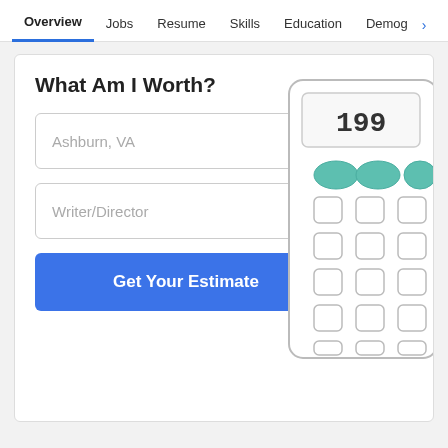Overview  Jobs  Resume  Skills  Education  Demog >
What Am I Worth?
Ashburn, VA
Writer/Director
Get Your Estimate
[Figure (illustration): Partial view of a calculator with display showing '199', teal oval buttons on top row, and rows of rounded square buttons below]